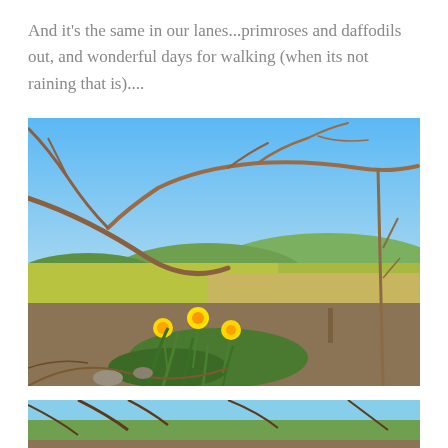And it's the same in our lanes...primroses and daffodils out, and wonderful days for walking (when its not raining that is)....
[Figure (photo): Outdoor countryside scene with yellow daffodils blooming among dry branches and undergrowth in the foreground, green rolling fields and hedgerows in the middle ground, and a clear blue sky above.]
[Figure (photo): Partial view of another outdoor countryside photo, cut off at the bottom of the page, showing blue sky and tree branches.]